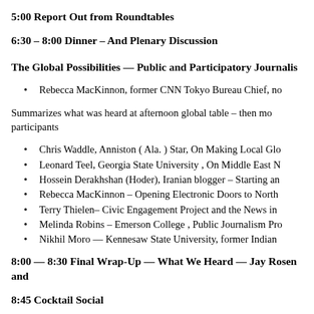5:00 Report Out from Roundtables
6:30 – 8:00 Dinner – And Plenary Discussion
The Global Possibilities — Public and Participatory Journalism
Rebecca MacKinnon, former CNN Tokyo Bureau Chief, no…
Summarizes what was heard at afternoon global table – then mo… participants
Chris Waddle, Anniston ( Ala. ) Star, On Making Local Glo…
Leonard Teel, Georgia State University , On Middle East N…
Hossein Derakhshan (Hoder), Iranian blogger – Starting an…
Rebecca MacKinnon – Opening Electronic Doors to North…
Terry Thielen– Civic Engagement Project and the News in…
Melinda Robins – Emerson College , Public Journalism Pro…
Nikhil Moro — Kennesaw State University, former Indian…
8:00 — 8:30 Final Wrap-Up — What We Heard — Jay Rosen and…
8:45 Cocktail Social
10:00 Hospitality Room — continuing the Discussion. Select Me…